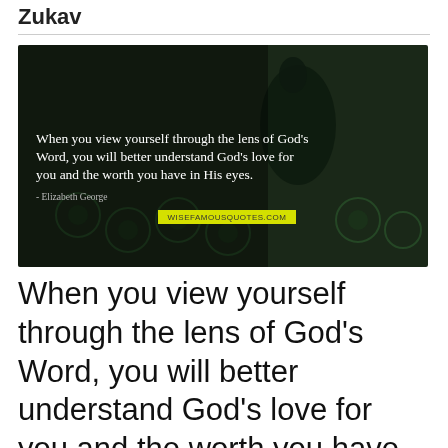Zukav
[Figure (photo): Dark-toned photo of a peacock with tail feathers displayed, overlaid with a quote in white text: 'When you view yourself through the lens of God's Word, you will better understand God's love for you and the worth you have in His eyes.' - Elizabeth George. Watermark: wisefamousquotes.com]
When you view yourself through the lens of God's Word, you will better understand God's love for you and the worth you have in His eyes. — Elizabeth George